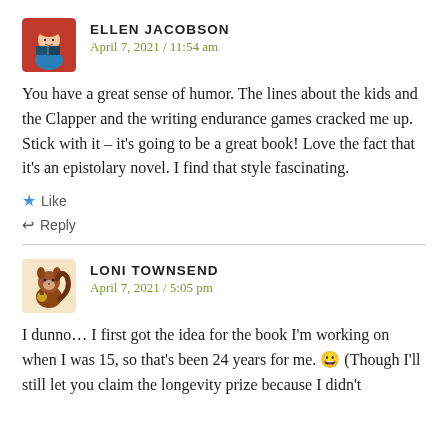ELLEN JACOBSON
April 7, 2021 / 11:54 am
You have a great sense of humor. The lines about the kids and the Clapper and the writing endurance games cracked me up.
Stick with it – it's going to be a great book! Love the fact that it's an epistolary novel. I find that style fascinating.
★ Like
↩ Reply
LONI TOWNSEND
April 7, 2021 / 5:05 pm
I dunno… I first got the idea for the book I'm working on when I was 15, so that's been 24 years for me. 😀 (Though I'll still let you claim the longevity prize because I didn't